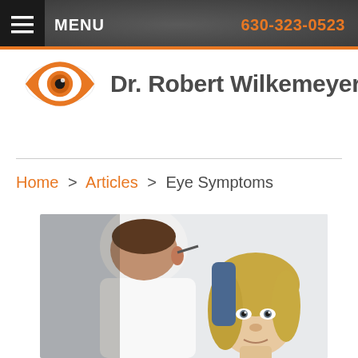MENU | 630-323-0523
Dr. Robert Wilkemeyer, O.D.
Home > Articles > Eye Symptoms
[Figure (photo): An eye doctor in a white coat seen from behind, consulting with a female patient with blonde hair in a clinical setting.]